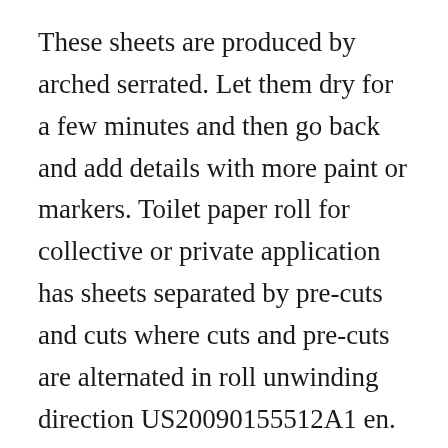These sheets are produced by arched serrated. Let them dry for a few minutes and then go back and add details with more paint or markers. Toilet paper roll for collective or private application has sheets separated by pre-cuts and cuts where cuts and pre-cuts are alternated in roll unwinding direction US20090155512A1 en.
These toilet paper roll owls are not only cute theyre also super easy to put together and perfect for kids to make. Glue the large rectangular piece around the toilet paper tube. Red Heart Super Saver White 0311 – about 2oz